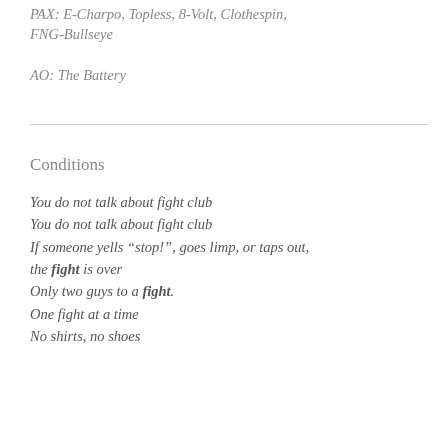PAX: E-Charpo, Topless, 8-Volt, Clothespin, FNG-Bullseye
AO: The Battery
Conditions
You do not talk about fight club
You do not talk about fight club
If someone yells “stop!”, goes limp, or taps out, the fight is over
Only two guys to a fight.
One fight at a time
No shirts, no shoes